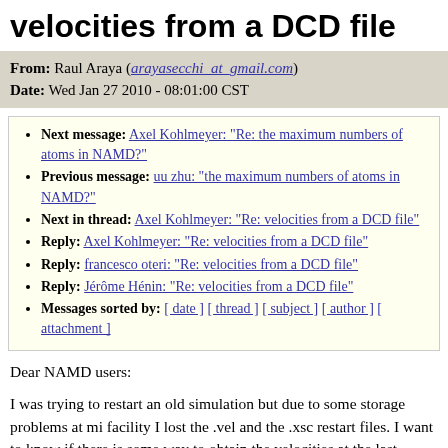velocities from a DCD file
From: Raul Araya (arayasecchi_at_gmail.com)
Date: Wed Jan 27 2010 - 08:01:00 CST
Next message: Axel Kohlmeyer: "Re: the maximum numbers of atoms in NAMD?"
Previous message: uu zhu: "the maximum numbers of atoms in NAMD?"
Next in thread: Axel Kohlmeyer: "Re: velocities from a DCD file"
Reply: Axel Kohlmeyer: "Re: velocities from a DCD file"
Reply: francesco oteri: "Re: velocities from a DCD file"
Reply: Jérôme Hénin: "Re: velocities from a DCD file"
Messages sorted by: [ date ] [ thread ] [ subject ] [ author ] [ attachment ]
Dear NAMD users:
I was trying to restart an old simulation but due to some storage problems at mi facility I lost the .vel and the .xsc restart files. I want to know if there is some way to obtain the velocities at the last